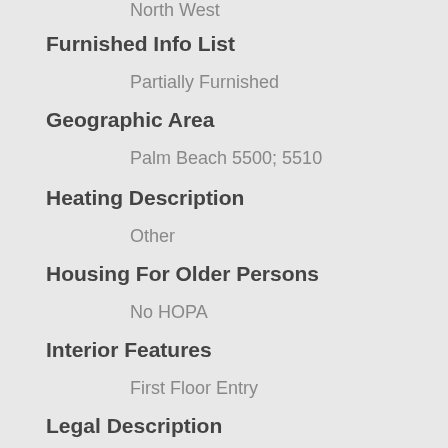North West
Furnished Info List
Partially Furnished
Geographic Area
Palm Beach 5500; 5510
Heating Description
Other
Housing For Older Persons
No HOPA
Interior Features
First Floor Entry
Legal Description
ELLIOTS SUB LTS 7 & 8 BLK E